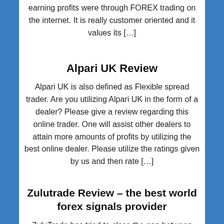earning profits were through FOREX trading on the internet. It is really customer oriented and it values its […]
Alpari UK Review
Alpari UK is also defined as Flexible spread trader. Are you utilizing Alpari UK in the form of a dealer? Please give a review regarding this online trader. One will assist other dealers to attain more amounts of profits by utilizing the best online dealer. Please utilize the ratings given by us and then rate […]
Zulutrade Review – the best world forex signals provider
ZuluTrade has tried to close the gap between valuable information in money markets and trade execution, by providing advice from professional traders worldwide